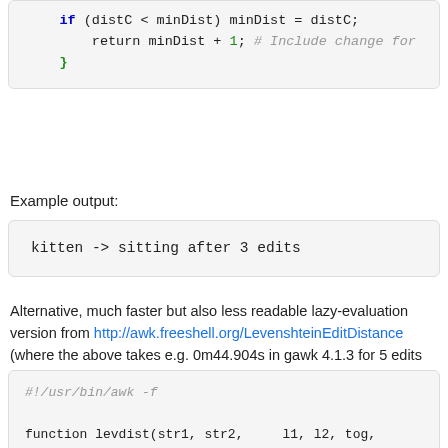[Figure (screenshot): Code block showing: if (distC < minDist) minDist = distC; return minDist + 1; # Include change for }]
Example output:
[Figure (screenshot): Code output block: kitten -> sitting after 3 edits]
Alternative, much faster but also less readable lazy-evaluation version from http://awk.freeshell.org/LevenshteinEditDistance (where the above takes e.g. 0m44.904s in gawk 4.1.3 for 5 edits (length 10 and 14 strings), this takes user 0m0.004s):
[Figure (screenshot): Code block: #!/usr/bin/awk -f  function levdist(str1, str2,    l1, l2, tog,         if (str1 == str2) {             return 0         } else if (str1 == "" || str2 == "")]